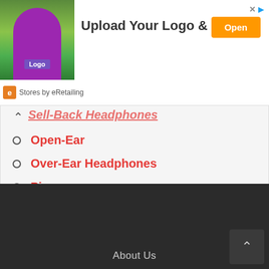[Figure (screenshot): Advertisement banner: photo of woman in gym holding weights wearing purple shirt with Logo badge, text 'Upload Your Logo & Sell', orange 'Open' button, 'Stores by eRetailing' branding at bottom left]
Sell-Back Headphones (partially visible, truncated)
Open-Ear
Over-Ear Headphones
Piano
Semi-Open Headphones
Speaker & Soundbar
Transmitter
About Us